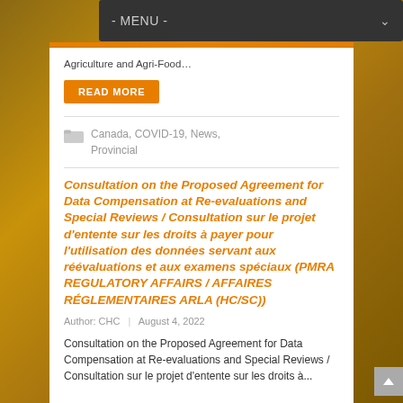- MENU -
Agriculture and Agri-Food…
READ MORE
Canada, COVID-19, News, Provincial
Consultation on the Proposed Agreement for Data Compensation at Re-evaluations and Special Reviews / Consultation sur le projet d'entente sur les droits à payer pour l'utilisation des données servant aux réévaluations et aux examens spéciaux (PMRA REGULATORY AFFAIRS / AFFAIRES RÉGLEMENTAIRES ARLA (HC/SC))
Author: CHC  |  August 4, 2022
Consultation on the Proposed Agreement for Data
Compensation at Re-evaluations and Special Reviews /
Consultation sur le projet d'entente sur les droits à...